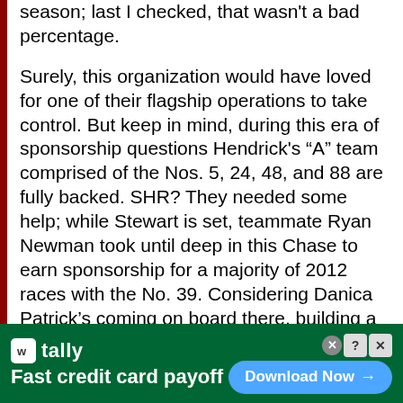season; last I checked, that wasn't a bad percentage.
Surely, this organization would have loved for one of their flagship operations to take control. But keep in mind, during this era of sponsorship questions Hendrick's “A” team comprised of the Nos. 5, 24, 48, and 88 are fully backed. SHR? They needed some help; while Stewart is set, teammate Ryan Newman took until deep in this Chase to earn sponsorship for a majority of 2012 races with the No. 39. Considering Danica Patrick’s coming on board there, building a third team is there a better time to earn the
[Figure (other): Advertisement banner for Tally app - Fast credit card payoff, with Download Now button]